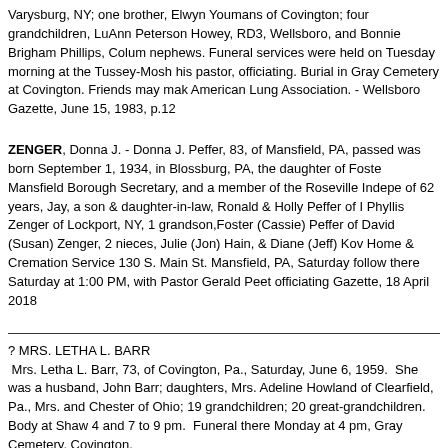Varysburg, NY; one brother, Elwyn Youmans of Covington; four grandchildren, LuAnn Peterson Howey, RD3, Wellsboro, and Bonnie Brigham Phillips, Colum nephews. Funeral services were held on Tuesday morning at the Tussey-Mosh his pastor, officiating. Burial in Gray Cemetery at Covington. Friends may mak American Lung Association. - Wellsboro Gazette, June 15, 1983, p.12
ZENGER, Donna J. - Donna J. Peffer, 83, of Mansfield, PA, passed was born September 1, 1934, in Blossburg, PA, the daughter of Foste Mansfield Borough Secretary, and a member of the Roseville Indepe of 62 years, Jay, a son & daughter-in-law, Ronald & Holly Peffer of I Phyllis Zenger of Lockport, NY, 1 grandson,Foster (Cassie) Peffer of David (Susan) Zenger, 2 nieces, Julie (Jon) Hain, & Diane (Jeff) Kov Home & Cremation Service 130 S. Main St. Mansfield, PA, Saturday follow there Saturday at 1:00 PM, with Pastor Gerald Peet officiating Gazette, 18 April 2018
? MRS. LETHA L. BARR
Mrs. Letha L. Barr, 73, of Covington, Pa., Saturday, June 6, 1959. She was a husband, John Barr; daughters, Mrs. Adeline Howland of Clearfield, Pa., Mrs. and Chester of Ohio; 19 grandchildren; 20 great-grandchildren. Body at Shaw 4 and 7 to 9 pm. Funeral there Monday at 4 pm, Gray Cemetery, Covington.
? Mrs. Rose Marie Brevoor, wife of William J. Brevoor, of Mansfield RD1, died Surviving besides her husband is a sister, Mrs. Margaret York, of Newark, NJ